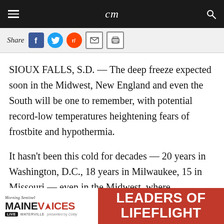cm
[Figure (screenshot): Share bar with social media icons: Facebook, Twitter, Reddit, Email, Print]
SIOUX FALLS, S.D. — The deep freeze expected soon in the Midwest, New England and even the South will be one to remember, with potential record-low temperatures heightening fears of frostbite and hypothermia.
It hasn't been this cold for decades — 20 years in Washington, D.C., 18 years in Milwaukee, 15 in Missouri — even in the Midwest, where
[Figure (other): Advertisement banner: Morning Sentinel MAINE VOICES LIVE WATERVILLE presented by Colby — LEADERS OF LIFEFLIGHT]